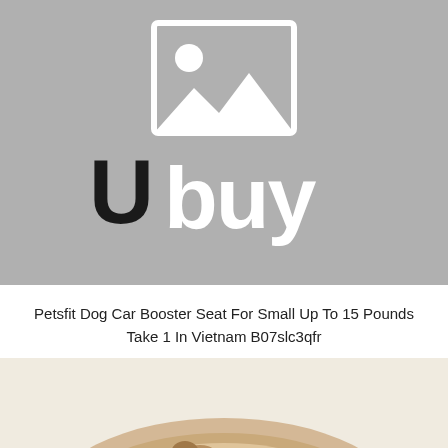[Figure (logo): Ubuy placeholder image with grey background showing a white image placeholder icon (mountain/landscape) and the Ubuy logo text below it]
Petsfit Dog Car Booster Seat For Small Up To 15 Pounds Take 1 In Vietnam B07slc3qfr
[Figure (photo): Partial photo of a dog car booster seat product, beige/tan colored, shown from above with a dog partially visible]